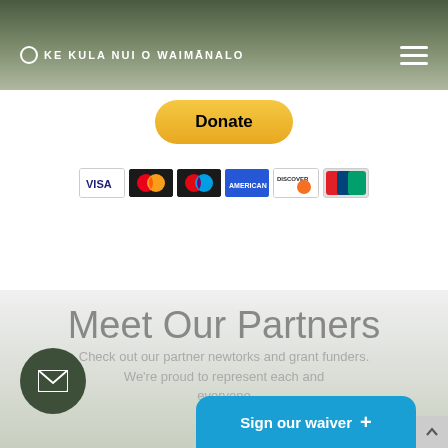KE KULA NUI O WAIMĀNALO
[Figure (screenshot): PayPal Donate button with payment card icons (VISA, Mastercard, Maestro, American Express, Discover, UnionPay)]
Meet Our Partners
Check out our partner newtorks and grant funders. We're proud to represent each and everyone
[Figure (other): Email contact circle button (dark green)]
[Figure (other): Sign our waiver button in blue with plus sign]